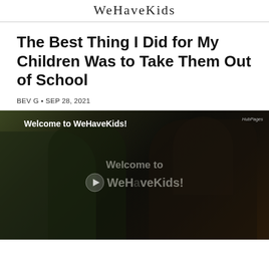WeHaveKids
The Best Thing I Did for My Children Was to Take Them Out of School
BEV G • SEP 28, 2021
[Figure (screenshot): A video thumbnail showing a family (children and adult) smiling together in a dark-toned image. The video is titled 'Welcome to WeHaveKids!' with a play button in the center. A HubPages badge appears in the top right corner.]